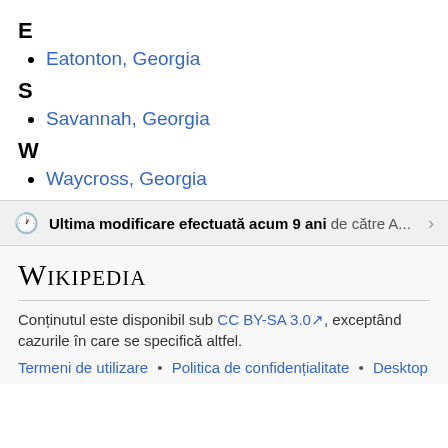E
Eatonton, Georgia
S
Savannah, Georgia
W
Waycross, Georgia
Ultima modificare efectuată acum 9 ani de către A...
WIKIPEDIA
Conținutul este disponibil sub CC BY-SA 3.0, exceptând cazurile în care se specifică altfel.
Termeni de utilizare • Politica de confidențialitate • Desktop